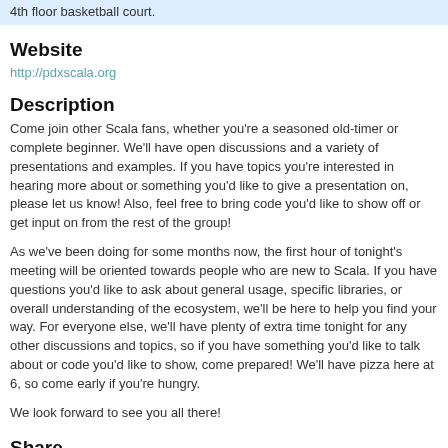4th floor basketball court.
Website
http://pdxscala.org
Description
Come join other Scala fans, whether you're a seasoned old-timer or complete beginner. We'll have open discussions and a variety of presentations and examples. If you have topics you're interested in hearing more about or something you'd like to give a presentation on, please let us know! Also, feel free to bring code you'd like to show off or get input on from the rest of the group!
As we've been doing for some months now, the first hour of tonight's meeting will be oriented towards people who are new to Scala. If you have questions you'd like to ask about general usage, specific libraries, or overall understanding of the ecosystem, we'll be here to help you find your way. For everyone else, we'll have plenty of extra time tonight for any other discussions and topics, so if you have something you'd like to talk about or code you'd like to show, come prepared! We'll have pizza here at 6, so come early if you're hungry.
We look forward to see you all there!
Share